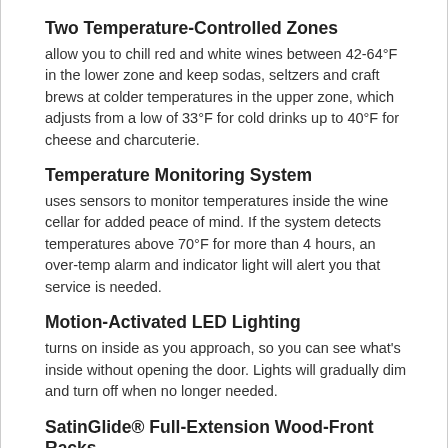Two Temperature-Controlled Zones
allow you to chill red and white wines between 42-64°F in the lower zone and keep sodas, seltzers and craft brews at colder temperatures in the upper zone, which adjusts from a low of 33°F for cold drinks up to 40°F for cheese and charcuterie.
Temperature Monitoring System
uses sensors to monitor temperatures inside the wine cellar for added peace of mind. If the system detects temperatures above 70°F for more than 4 hours, an over-temp alarm and indicator light will alert you that service is needed.
Motion-Activated LED Lighting
turns on inside as you approach, so you can see what's inside without opening the door. Lights will gradually dim and turn off when no longer needed.
SatinGlide® Full-Extension Wood-Front Racks
pull all the way out, making it easy to load bottles in when restocking and find just the one you want when serving. Wood fronts let you coordinate with your home decor.